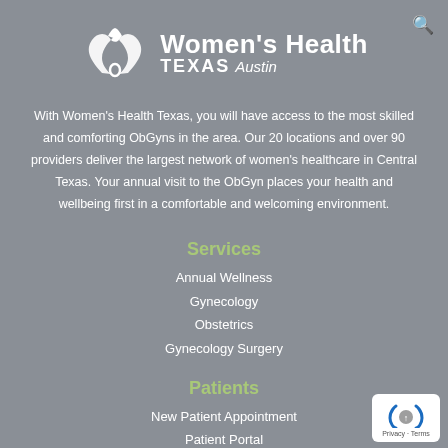[Figure (logo): Women's Health Texas Austin logo with two overlapping heart/leaf shapes in white and the text Women's Health TEXAS Austin]
With Women's Health Texas, you will have access to the most skilled and comforting ObGyns in the area. Our 20 locations and over 90 providers deliver the largest network of women's healthcare in Central Texas. Your annual visit to the ObGyn places your health and wellbeing first in a comfortable and welcoming environment.
Services
Annual Wellness
Gynecology
Obstetrics
Gynecology Surgery
Patients
New Patient Appointment
Patient Portal
Locations
Providers